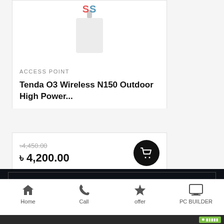[Figure (photo): Product image of Tenda O3 Wireless N150 Outdoor router with SS watermark logo overlay]
ACCESS POINT
Tenda O3 Wireless N150 Outdoor High Power...
৳4,450.00 (strikethrough original price)
৳ 4,200.00
Branch : 01
Home  Call  offer  PC BUILDER